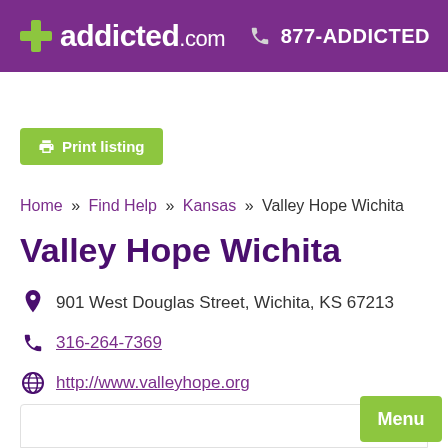addicted.com   877-ADDICTED
[Figure (logo): addicted.com logo with green plus sign on purple background, and phone number 877-ADDICTED]
Print listing
Home » Find Help » Kansas » Valley Hope Wichita
Valley Hope Wichita
901 West Douglas Street, Wichita, KS 67213
316-264-7369
http://www.valleyhope.org